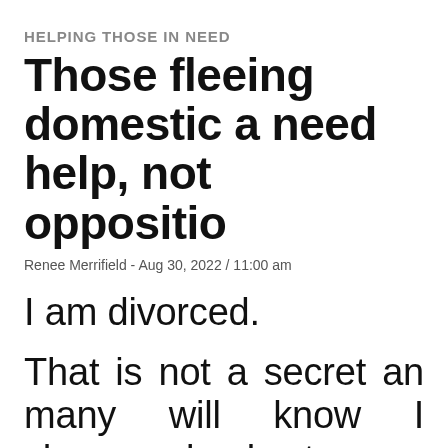HELPING THOSE IN NEED
Those fleeing domestic a need help, not oppositio
Renee Merrifield - Aug 30, 2022 / 11:00 am
I am divorced.
That is not a secret an many will know I change back to my maiden nam divorce was finalized a